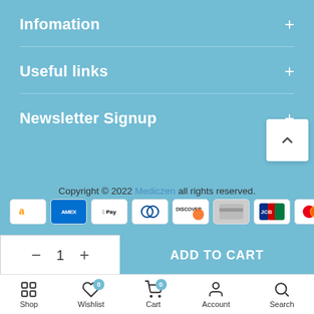Infomation
Useful links
Newsletter Signup
Copyright © 2022 Mediczen all rights reserved.
[Figure (other): Payment method icons: Amazon, Amex, Apple Pay, Diners Club, Discover, generic card, JCB, Mastercard]
- 1 +
ADD TO CART
Shop | Wishlist 0 | Cart 0 | Account | Search